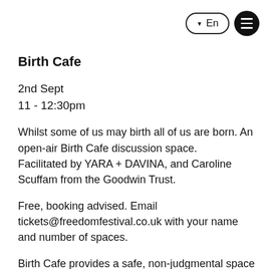▼ En  ☰
Birth Cafe
2nd Sept
11 - 12:30pm
Whilst some of us may birth all of us are born. An open-air Birth Cafe discussion space.
Facilitated by YARA + DAVINA, and Caroline Scuffam from the Goodwin Trust.
Free, booking advised. Email tickets@freedomfestival.co.uk with your name and number of spaces.
Birth Cafe provides a safe, non-judgmental space in which anyone and everyone is welcome to come and talk about their relationship to, and concept of birth, in order to build understanding and respect for its